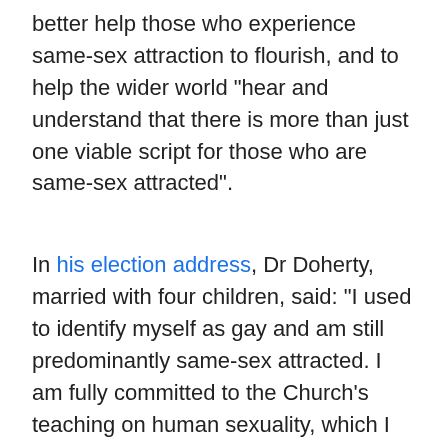better help those who experience same-sex attraction to flourish, and to help the wider world "hear and understand that there is more than just one viable script for those who are same-sex attracted".
In his election address, Dr Doherty, married with four children, said: "I used to identify myself as gay and am still predominantly same-sex attracted. I am fully committed to the Church's teaching on human sexuality, which I believe is faithful to Scripture and to the mind of the historic and global church. I have found this teaching to be life-giving and fulfilling in my own life, and I have found the church to be a place of unconditional acceptance and support."